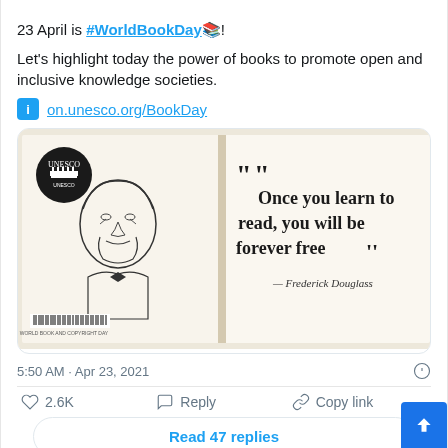23 April is #WorldBookDay📚!
Let's highlight today the power of books to promote open and inclusive knowledge societies.
on.unesco.org/BookDay
[Figure (photo): An open book displaying a portrait sketch of Frederick Douglass on the left page and a quote on the right page: "Once you learn to read, you will be forever free" — Frederick Douglass. UNESCO World Book and Copyright Day branding visible.]
5:50 AM · Apr 23, 2021
♡ 2.6K   Reply   Copy link
Read 47 replies